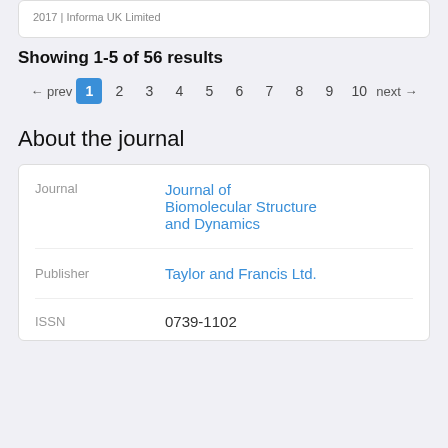2017 | Informa UK Limited
Showing 1-5 of 56 results
← prev  1  2  3  4  5  6  7  8  9  10  next →
About the journal
|  |  |
| --- | --- |
| Journal | Journal of Biomolecular Structure and Dynamics |
| Publisher | Taylor and Francis Ltd. |
| ISSN | 0739-1102 |